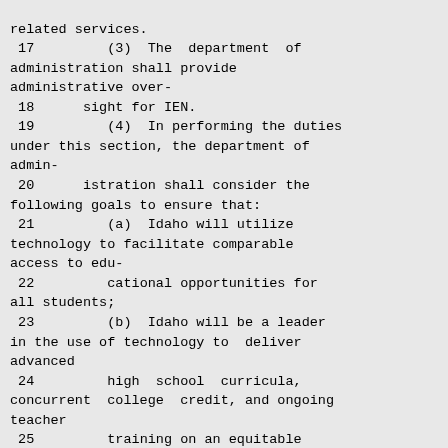related services.
 17         (3)  The  department  of administration shall provide administrative over-
 18      sight for IEN.
 19         (4)  In performing the duties under this section, the department of admin-
 20      istration shall consider the following goals to ensure that:
 21         (a)  Idaho will utilize technology to facilitate comparable access to edu-
 22         cational opportunities for all students;
 23         (b)  Idaho will be a leader in the use of technology to  deliver advanced
 24         high  school  curricula, concurrent  college  credit, and ongoing teacher
 25         training on an equitable basis throughout the state; and
 26         (c)  Idaho will leverage its